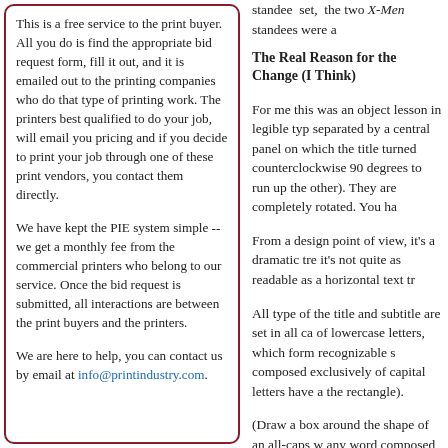This is a free service to the print buyer. All you do is find the appropriate bid request form, fill it out, and it is emailed out to the printing companies who do that type of printing work. The printers best qualified to do your job, will email you pricing and if you decide to print your job through one of these print vendors, you contact them directly.
We have kept the PIE system simple -- we get a monthly fee from the commercial printers who belong to our service. Once the bid request is submitted, all interactions are between the print buyers and the printers.
We are here to help, you can contact us by email at info@printindustry.com.
standee set, the two X-Men standees were a
The Real Reason for the Change (I Think)
For me this was an object lesson in legible typ separated by a central panel on which the title turned counterclockwise 90 degrees to run up the other). They are completely rotated. You ha
From a design point of view, it's a dramatic tre it's not quite as readable as a horizontal text tr
All type of the title and subtitle are set in all ca of lowercase letters, which form recognizable s composed exclusively of capital letters have a the rectangle).
(Draw a box around the shape of an all-caps w any word composed of all uppercase letters, y
As we read a passage of text, or a movie title, shapes of the words. This is why it's harder to However, when you turn the text on its side on
This Isn't Always Bad